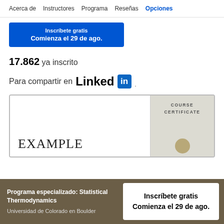Acerca de | Instructores | Programa | Reseñas | Opciones
[Figure (screenshot): Blue CTA button showing 'Inscríbete gratis' and 'Comienza el 29 de ago.']
17.862 ya inscrito
Para compartir en LinkedIn
[Figure (screenshot): Course certificate preview with text EXAMPLE and COURSE CERTIFICATE label on the right side]
Programa especializado: Statistical Thermodynamics
Universidad de Colorado en Boulder
Inscríbete gratis
Comienza el 29 de ago.